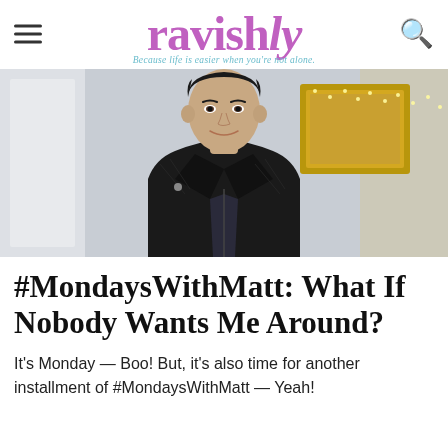ravishly — Because life is easier when you're not alone.
[Figure (photo): A young man wearing a black leather jacket and dark shirt, smiling slightly, photographed from the chest up. Background shows a gold-framed picture and string lights on a white wall.]
#MondaysWithMatt: What If Nobody Wants Me Around?
It's Monday — Boo! But, it's also time for another installment of #MondaysWithMatt — Yeah!